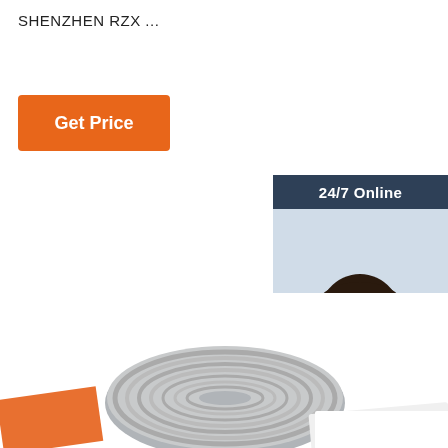SHENZHEN RZX ...
[Figure (other): Orange 'Get Price' button]
[Figure (photo): Customer service widget: dark blue header '24/7 Online', photo of a smiling woman with headset, text 'Click here for free chat!', orange 'QUOTATION' button]
[Figure (logo): Orange dotted triangle 'TOP' back-to-top logo]
[Figure (photo): Product photo: coiled flat spiral RFID antenna/coil on a white surface with orange packaging edge visible]